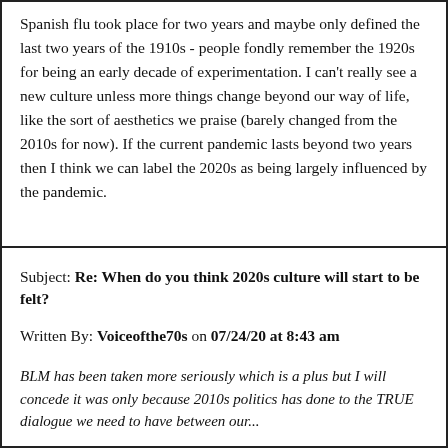Spanish flu took place for two years and maybe only defined the last two years of the 1910s - people fondly remember the 1920s for being an early decade of experimentation. I can't really see a new culture unless more things change beyond our way of life, like the sort of aesthetics we praise (barely changed from the 2010s for now). If the current pandemic lasts beyond two years then I think we can label the 2020s as being largely influenced by the pandemic.
Subject: Re: When do you think 2020s culture will start to be felt?
Written By: Voiceofthe70s on 07/24/20 at 8:43 am
BLM has been taken more seriously which is a plus but I will concede it was only because 2010s politics has done to the TRUE dialogue we need to have between our...